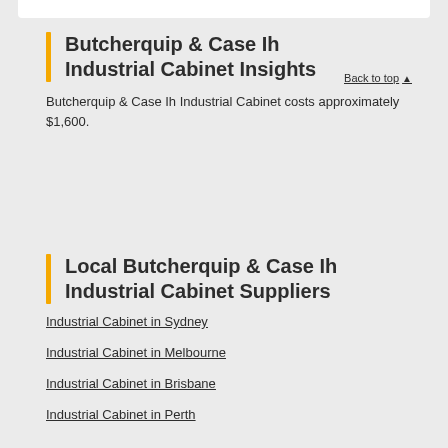Butcherquip & Case Ih Industrial Cabinet Insights
Back to top ▲
Butcherquip & Case Ih Industrial Cabinet costs approximately $1,600.
Local Butcherquip & Case Ih Industrial Cabinet Suppliers
Industrial Cabinet in Sydney
Industrial Cabinet in Melbourne
Industrial Cabinet in Brisbane
Industrial Cabinet in Perth